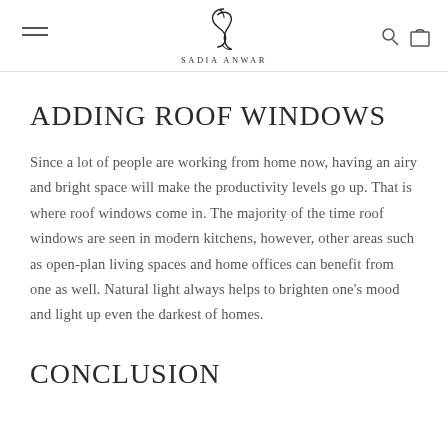SADIA ANWAR
ADDING ROOF WINDOWS
Since a lot of people are working from home now, having an airy and bright space will make the productivity levels go up. That is where roof windows come in. The majority of the time roof windows are seen in modern kitchens, however, other areas such as open-plan living spaces and home offices can benefit from one as well. Natural light always helps to brighten one's mood and light up even the darkest of homes.
CONCLUSION